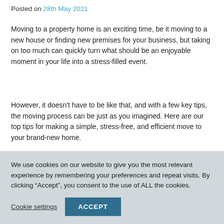Posted on 28th May 2021
Moving to a property home is an exciting time, be it moving to a new house or finding new premises for your business, but taking on too much can quickly turn what should be an enjoyable moment in your life into a stress-filled event.
However, it doesn’t have to be like that, and with a few key tips, the moving process can be just as you imagined. Here are our top tips for making a simple, stress-free, and efficient move to your brand-new home.
Tips To Help With Moving House
We use cookies on our website to give you the most relevant experience by remembering your preferences and repeat visits. By clicking “Accept”, you consent to the use of ALL the cookies.